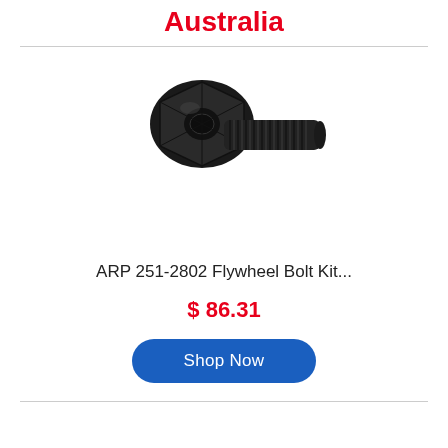Australia
[Figure (photo): Black ARP flywheel bolt with hex head and threaded shank, shown at an angle against white background.]
ARP 251-2802 Flywheel Bolt Kit...
$ 86.31
Shop Now